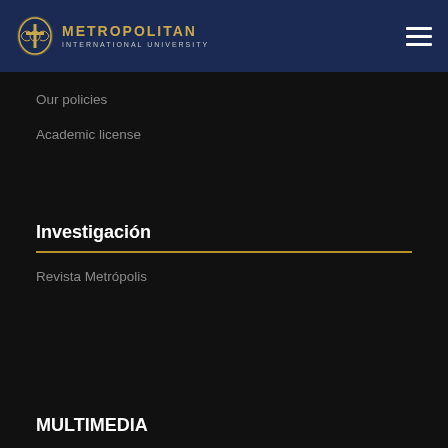[Figure (logo): Metropolitan International University logo with emblem and text]
Our policies
Academic license
Investigación
Revista Metrópolis
MULTIMEDIA